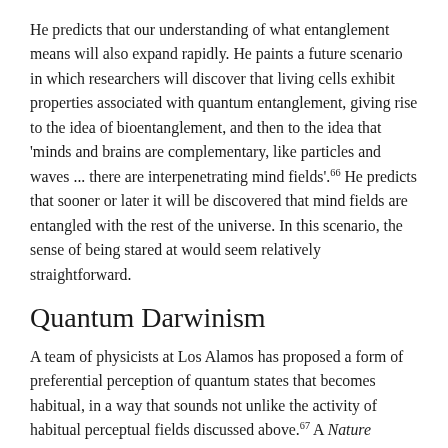He predicts that our understanding of what entanglement means will also expand rapidly. He paints a future scenario in which researchers will discover that living cells exhibit properties associated with quantum entanglement, giving rise to the idea of bioentanglement, and then to the idea that 'minds and brains are complementary, like particles and waves ... there are interpenetrating mind fields'.66 He predicts that sooner or later it will be discovered that mind fields are entangled with the rest of the universe. In this scenario, the sense of being stared at would seem relatively straightforward.
Quantum Darwinism
A team of physicists at Los Alamos has proposed a form of preferential perception of quantum states that becomes habitual, in a way that sounds not unlike the activity of habitual perceptual fields discussed above.67 A Nature news report in 2004 explained how this new hypothesis